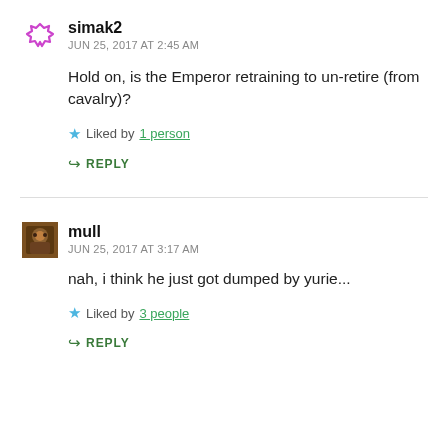simak2
JUN 25, 2017 AT 2:45 AM
Hold on, is the Emperor retraining to un-retire (from cavalry)?
Liked by 1 person
REPLY
mull
JUN 25, 2017 AT 3:17 AM
nah, i think he just got dumped by yurie...
Liked by 3 people
REPLY